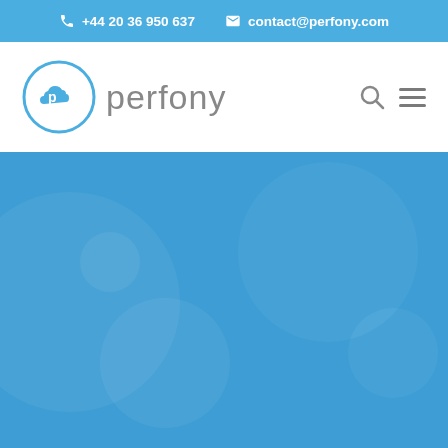+44 20 36 950 637  contact@perfony.com
[Figure (logo): Perfony logo: a circle with a cloud and letter P inside, followed by the text 'perfony' in grey]
Search and menu navigation icons